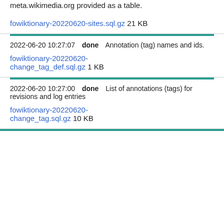meta.wikimedia.org provided as a table.
fowiktionary-20220620-sites.sql.gz 21 KB
2022-06-20 10:27:07  done  Annotation (tag) names and ids.
fowiktionary-20220620-change_tag_def.sql.gz 1 KB
2022-06-20 10:27:00  done  List of annotations (tags) for revisions and log entries
fowiktionary-20220620-change_tag.sql.gz 10 KB